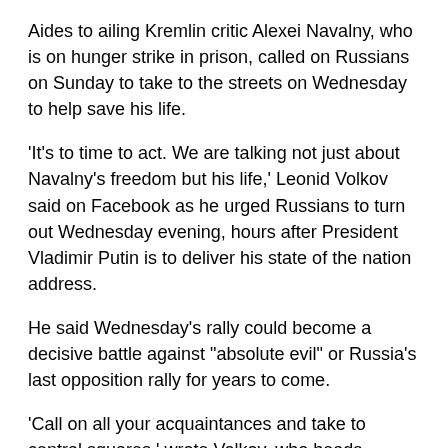Aides to ailing Kremlin critic Alexei Navalny, who is on hunger strike in prison, called on Russians on Sunday to take to the streets on Wednesday to help save his life.
'It's to time to act. We are talking not just about Navalny's freedom but his life,' Leonid Volkov said on Facebook as he urged Russians to turn out Wednesday evening, hours after President Vladimir Putin is to deliver his state of the nation address.
He said Wednesday's rally could become a decisive battle against "absolute evil" or Russia's last opposition rally for years to come.
'Call on all your acquaintances and take to central squares,' wrote Volkov, who heads Navalny's regional offices, adding that Wednesday's street protests should become massive.
'Don't think that nothing depends on us.'